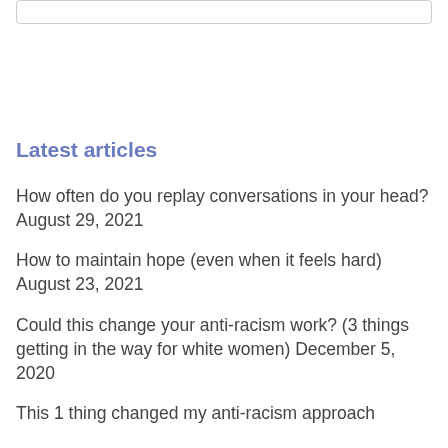Latest articles
How often do you replay conversations in your head? August 29, 2021
How to maintain hope (even when it feels hard) August 23, 2021
Could this change your anti-racism work? (3 things getting in the way for white women) December 5, 2020
This 1 thing changed my anti-racism approach